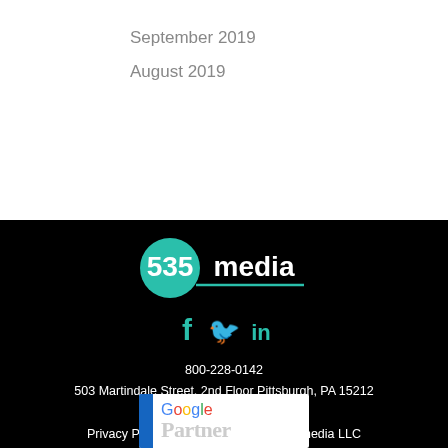September 2019
August 2019
[Figure (logo): 535media logo: teal circle with '535' in white bold text and 'media' in white text, with a teal underline beneath]
[Figure (logo): Social media icons: Facebook (f), Twitter (bird), LinkedIn (in) in teal color]
800-228-0142
503 Martindale Street, 2nd Floor Pittsburgh, PA 15212
info@535mediallc.com
Privacy Policy / © Copyright 2019, 535media LLC
[Figure (logo): Google Partner badge with blue bar on left, 'Google' in multicolor and 'Partner' in gray below]